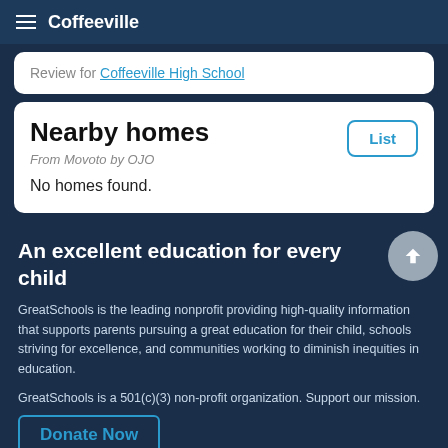Coffeeville
Review for Coffeeville High School
Nearby homes
From Movoto by OJO
No homes found.
An excellent education for every child
GreatSchools is the leading nonprofit providing high-quality information that supports parents pursuing a great education for their child, schools striving for excellence, and communities working to diminish inequities in education.
GreatSchools is a 501(c)(3) non-profit organization. Support our mission.
Donate Now